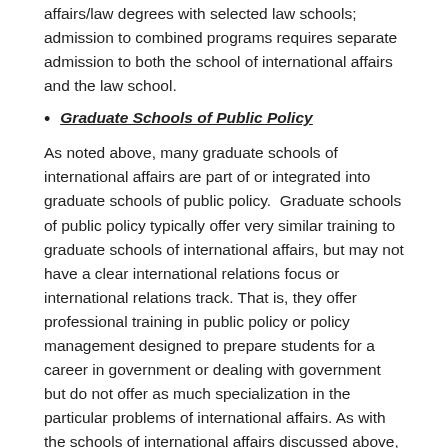affairs/law degrees with selected law schools; admission to combined programs requires separate admission to both the school of international affairs and the law school.
Graduate Schools of Public Policy
As noted above, many graduate schools of international affairs are part of or integrated into graduate schools of public policy.  Graduate schools of public policy typically offer very similar training to graduate schools of international affairs, but may not have a clear international relations focus or international relations track. That is, they offer professional training in public policy or policy management designed to prepare students for a career in government or dealing with government but do not offer as much specialization in the particular problems of international affairs. As with the schools of international affairs discussed above, many of these are highly competitive and, again, there are curricular variations between schools so you should read their catalogs carefully. Again like the international affairs schools, the Master's programs at these schools are typically a two